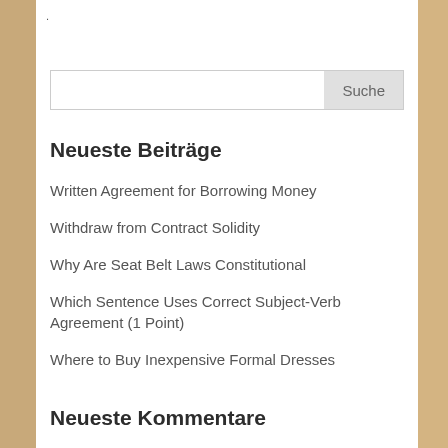.
Neueste Beiträge
Written Agreement for Borrowing Money
Withdraw from Contract Solidity
Why Are Seat Belt Laws Constitutional
Which Sentence Uses Correct Subject-Verb Agreement (1 Point)
Where to Buy Inexpensive Formal Dresses
Neueste Kommentare